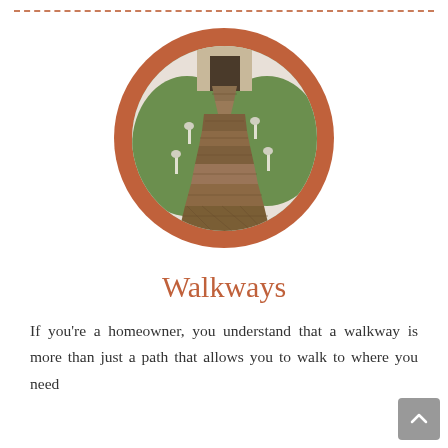[Figure (photo): Circular image with a terracotta/rust-colored circular border showing a wooden walkway/stepping path through green grass, leading toward a building entrance, with solar pathway lights on either side.]
Walkways
If you're a homeowner, you understand that a walkway is more than just a path that allows you to walk to where you need